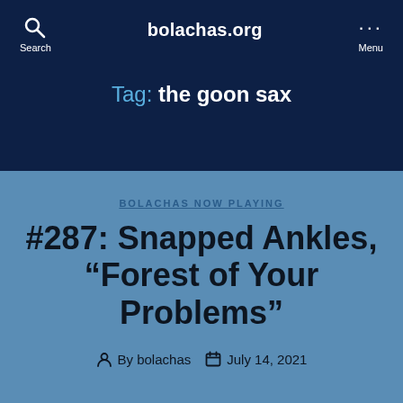bolachas.org
Tag: the goon sax
BOLACHAS NOW PLAYING
#287: Snapped Ankles, “Forest of Your Problems”
By bolachas   July 14, 2021